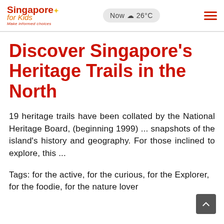Singapore for Kids — Make informed choices | Now 26°C
Discover Singapore's Heritage Trails in the North
19 heritage trails have been collated by the National Heritage Board, (beginning 1999) ... snapshots of the island's history and geography. For those inclined to explore, this ...
Tags: for the active, for the curious, for the Explorer, for the foodie, for the nature lover